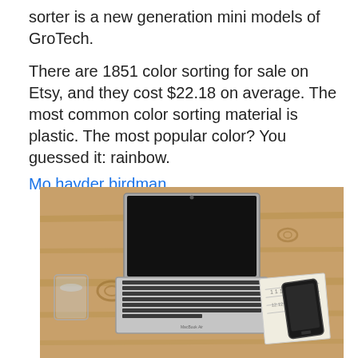sorter is a new generation mini models of GroTech.
There are 1851 color sorting for sale on Etsy, and they cost $22.18 on average. The most common color sorting material is plastic. The most popular color? You guessed it: rainbow.
Mo hayder birdman
[Figure (photo): Overhead view of a MacBook Air laptop open on a wooden table, with a glass of water on the left side and a smartphone resting on a notebook on the right side.]